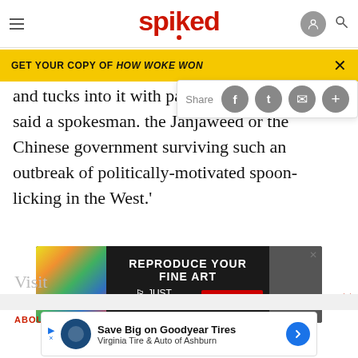spiked
GET YOUR COPY OF HOW WOKE WON
and tucks into it with passion, it will make', said a spokesman. the Janjaweed or the Chinese government surviving such an outbreak of politically-motivated spoon-licking in the West.'
[Figure (infographic): Share bar overlay with social media icons: Facebook, Twitter, Email, Plus]
[Figure (infographic): Advertisement banner: REPRODUCE YOUR FINE ART - JUST GICLEE.co.uk - FIND OUT MORE]
Visit
ABOUT
[Figure (infographic): Advertisement: Save Big on Goodyear Tires - Virginia Tire & Auto of Ashburn]